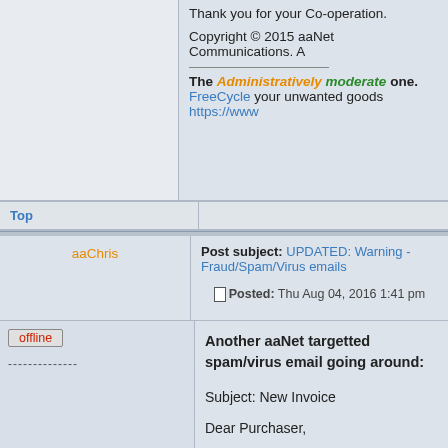Thank you for your Co-operation.
Copyright © 2015 aaNet Communications. A
The Administratively moderate one. FreeCycle your unwanted goods https://www
Top
Post subject: UPDATED: Warning - Fraud/Spam/Virus emails  Posted: Thu Aug 04, 2016 1:41 pm
aaChris
offline
--------------
Joined: Fri Jun 25, 2004 7:06 pm
Posts: 14406
Location: Far outer West of Snake Valley in Vic.
Exchange/Suburb: Snake Valley
Another aaNet targetted spam/virus email going around:

Subject: New Invoice

Dear Purchaser,

Let us kindly keep informed you regarding your order which is succsessfully completed.
Please find attached the payment document for more details.